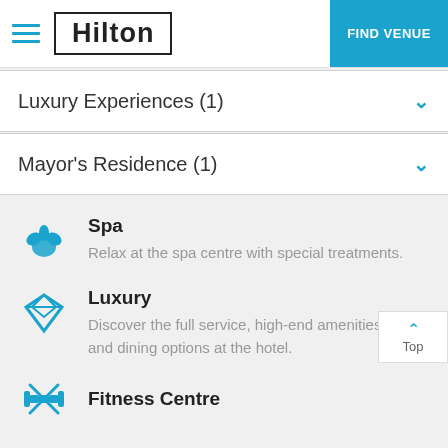Hilton | FIND VENUE
Luxury Experiences (1)
Mayor's Residence (1)
Spa
Relax at the spa centre with special treatments.
Luxury
Discover the full service, high-end amenities and dining options at the hotel.
Fitness Centre